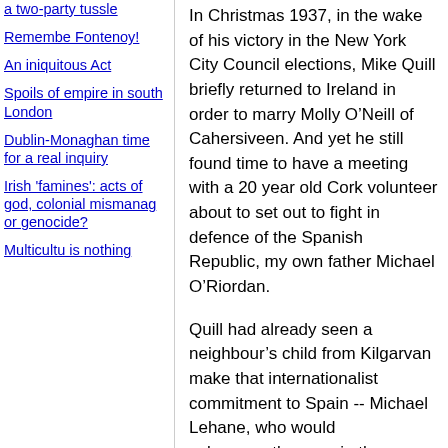a two-party tussle
Remembe Fontenoy!
An iniquitous Act
Spoils of empire in south London
Dublin-Monaghan time for a real inquiry
Irish 'famines': acts of god, colonial mismanag or genocide?
Multicultu is nothing
In Christmas 1937, in the wake of his victory in the New York City Council elections, Mike Quill briefly returned to Ireland in order to marry Molly O’Neill of Cahersiveen. And yet he still found time to have a meeting with a 20 year old Cork volunteer about to set out to fight in defence of the Spanish Republic, my own father Michael O’Riordan.
Quill had already seen a neighbour’s child from Kilgarvan make that internationalist commitment to Spain -- Michael Lehane, who would subsequently serve in the Norwegian Merchant Navy on the trans-Atlantic convoys of World War II and who would give up his life in the cause of anti-fascism when his ship fell victim to a Nazi U-boat attack in 1943.
Mike Quill was a man ahead of his time in so many different ways.
Here in Ireland, as we are still struggling to overcome the situation where this country has the worst provision of childcare services in the European Union, it is worth remembering that